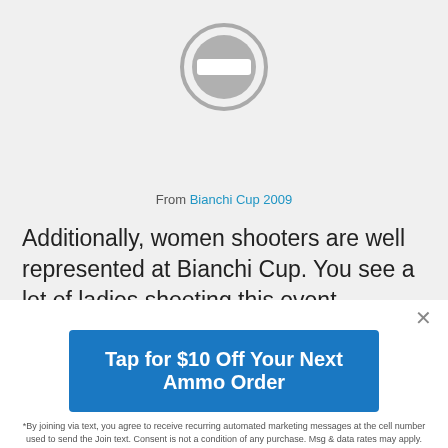[Figure (illustration): A gray circle with a minus/blocked icon (gray circle outline with gray horizontal rectangle in center), indicating a blocked or unavailable image.]
From Bianchi Cup 2009
Additionally, women shooters are well represented at Bianchi Cup. You see a lot of ladies shooting this event,
Tap for $10 Off Your Next Ammo Order
*By joining via text, you agree to receive recurring automated marketing messages at the cell number used to send the Join text. Consent is not a condition of any purchase. Msg & data rates may apply.